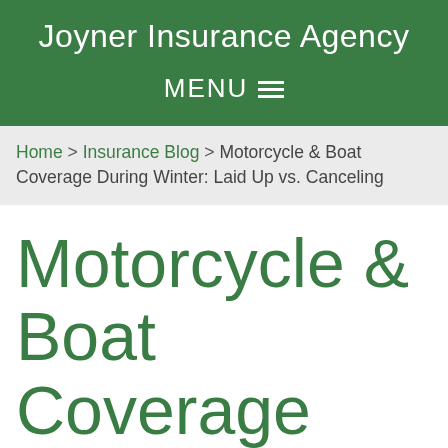Joyner Insurance Agency
MENU
Home > Insurance Blog > Motorcycle & Boat Coverage During Winter: Laid Up vs. Canceling
Motorcycle & Boat Coverage